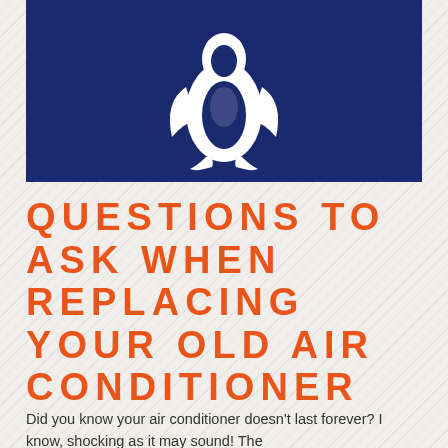[Figure (logo): White penguin silhouette logo on a dark navy blue background]
QUESTIONS TO ASK WHEN REPLACING YOUR OLD AIR CONDITIONER
Did you know your air conditioner doesn't last forever? I know, shocking as it may sound! The